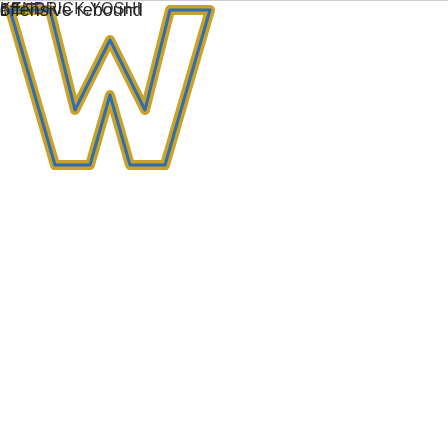ayup
0 - 7
16:55
[Figure (logo): University of Washington 'W' logo in blue and gold outline]
KENDRICK,YOSHI
offensive rebound